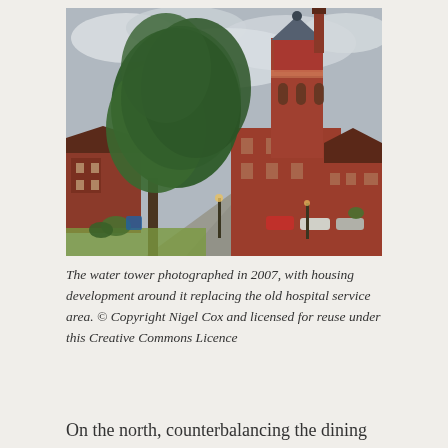[Figure (photo): Photograph of a tall red brick water tower with a pyramidal roof and chimney stack, surrounded by residential housing development and a large tree in the foreground, taken in 2007.]
The water tower photographed in 2007, with housing development around it replacing the old hospital service area. © Copyright Nigel Cox and licensed for reuse under this Creative Commons Licence
On the north, counterbalancing the dining